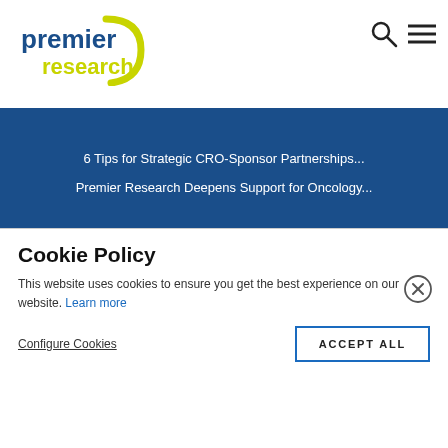[Figure (logo): Premier Research logo in header — blue text 'premier' with yellow-green 'research' and a circular arc]
[Figure (infographic): Search icon (magnifying glass) and hamburger menu icon in top-right of header]
6 Tips for Strategic CRO-Sponsor Partnerships...
Premier Research Deepens Support for Oncology...
[Figure (logo): Premier Research logo (larger) in footer area — same blue/yellow-green branding]
[Figure (infographic): LinkedIn and Twitter social media circle icons]
Cookie Policy
This website uses cookies to ensure you get the best experience on our website. Learn more
Configure Cookies
ACCEPT ALL